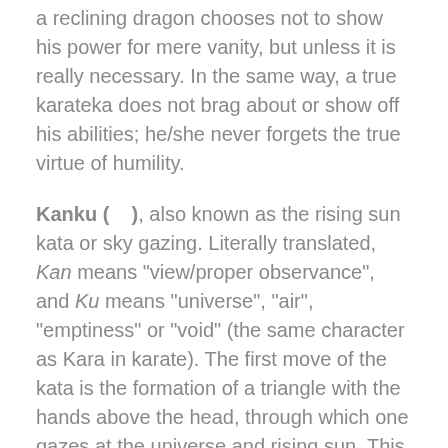a reclining dragon chooses not to show his power for mere vanity, but unless it is really necessary. In the same way, a true karateka does not brag about or show off his abilities; he/she never forgets the true virtue of humility.
Kanku (   ), also known as the rising sun kata or sky gazing. Literally translated, Kan means "view/proper observance", and Ku means "universe", "air", "emptiness" or "void" (the same character as Kara in karate). The first move of the kata is the formation of a triangle with the hands above the head, through which one gazes at the universe and rising sun. This triangle has an even more profound meaning, since we internally invoque three extremly powerful energies: "Peace", "Love" and "Freedom". The significance of the kata is that no matter what the severity of the problem/challenge is being faced, every single new day is another unique opportunity to overcome it. Not only